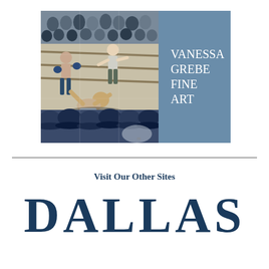[Figure (illustration): A painting of a boxing match scene: a knocked-down boxer on the canvas, a referee jumping in, another boxer standing, audience watching in background. The painting occupies the left portion of the logo block. The right portion is a steel blue panel with 'VANESSA GREBE FINE ART' in white serif text.]
Visit Our Other Sites
DALLAS